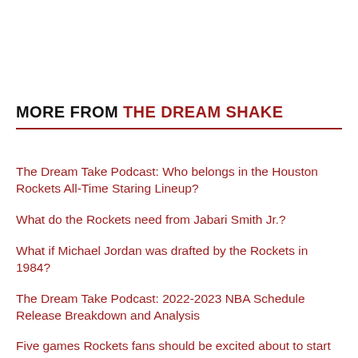MORE FROM THE DREAM SHAKE
The Dream Take Podcast: Who belongs in the Houston Rockets All-Time Staring Lineup?
What do the Rockets need from Jabari Smith Jr.?
What if Michael Jordan was drafted by the Rockets in 1984?
The Dream Take Podcast: 2022-2023 NBA Schedule Release Breakdown and Analysis
Five games Rockets fans should be excited about to start the season
Can the Rockets be free agency players next summer?